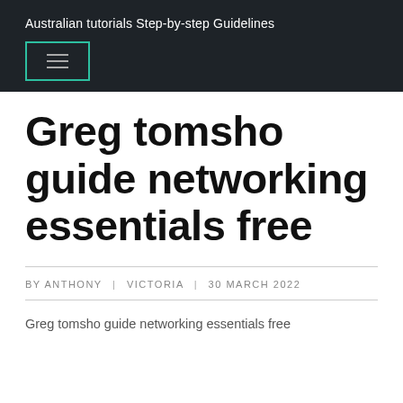Australian tutorials Step-by-step Guidelines
[Figure (other): Hamburger menu button with teal/green border outline]
Greg tomsho guide networking essentials free
BY ANTHONY | VICTORIA | 30 MARCH 2022
Greg tomsho guide networking essentials free